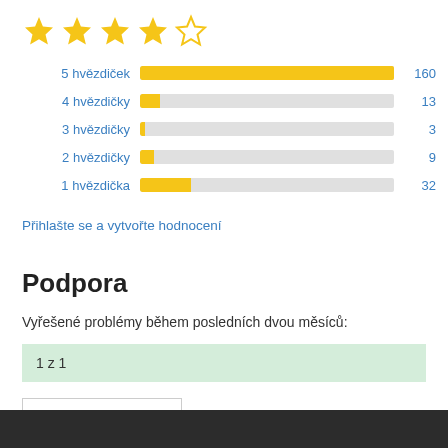[Figure (other): 4 out of 5 stars rating display: four filled gold stars and one empty star]
[Figure (bar-chart): Star ratings distribution]
Přihlašte se a vytvořte hodnocení
Podpora
Vyřešené problémy během posledních dvou měsíců:
1 z 1
Fórum podpory